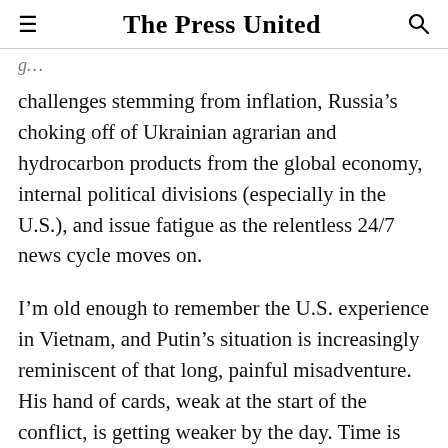The Press United
challenges stemming from inflation, Russia's choking off of Ukrainian agrarian and hydrocarbon products from the global economy, internal political divisions (especially in the U.S.), and issue fatigue as the relentless 24/7 news cycle moves on.
I’m old enough to remember the U.S. experience in Vietnam, and Putin’s situation is increasingly reminiscent of that long, painful misadventure. His hand of cards, weak at the start of the conflict, is getting weaker by the day. Time is more on the side of Ukraine and